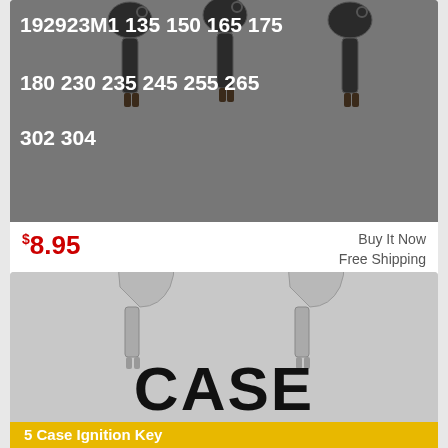[Figure (photo): Three Massey Ferguson ignition keys (192923M1) against a dark background with model numbers listed]
$8.95  Buy It Now  Free Shipping
Condition: New
Location: Denton, United States
5 Massey Ferguson keys 192923M1. 5 Massey Ferguson Ignition K e ys. Travel Knob.
[Figure (photo): Two silver Case ignition keys with CASE logo and banner reading '5 Case Ignition Key R30074 Bulldozer']